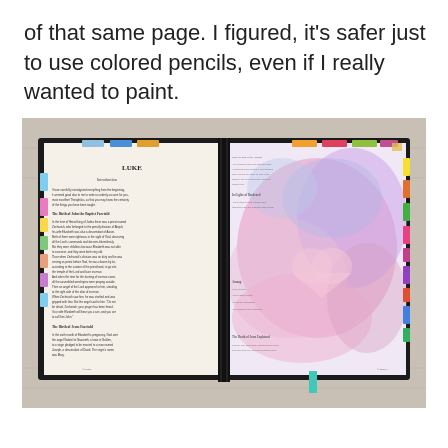of that same page. I figured, it's safer just to use colored pencils, even if I really wanted to paint.
[Figure (photo): An open Bible with colorful tabs on both sides. The left page shows the beginning of the book of Luke with small printed text. The right page has been decorated with pink and blue watercolor-style artwork with Bible text visible beneath. The Bible is lying on a light gray wooden surface.]